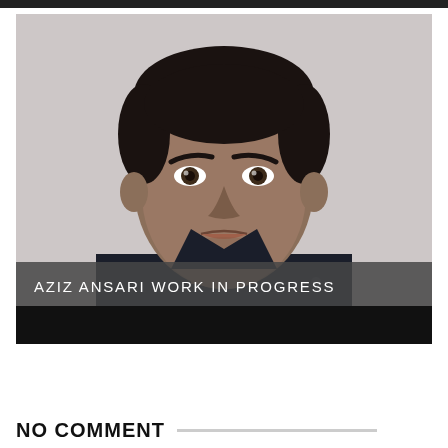[Figure (photo): Headshot photo of Aziz Ansari against a light gray background, wearing a dark navy shirt, looking directly at the camera with a serious expression. A dark semi-transparent overlay band at the bottom of the image contains the text 'AZIZ ANSARI WORK IN PROGRESS' in white uppercase letters. Below that is a solid black bar.]
NO COMMENT